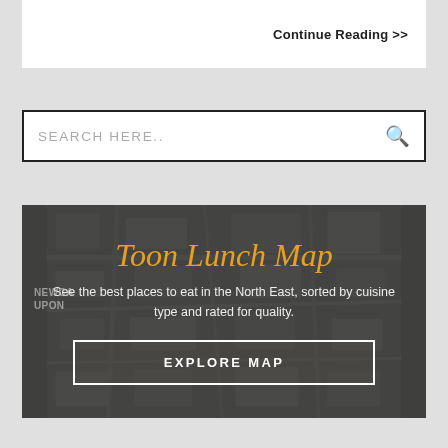Continue Reading >>
SEARCH HERE..
[Figure (map): Toon Lunch Map banner with a dark overlay on a Newcastle city map background, showing title 'Toon Lunch Map', description text, and an 'EXPLORE MAP' button.]